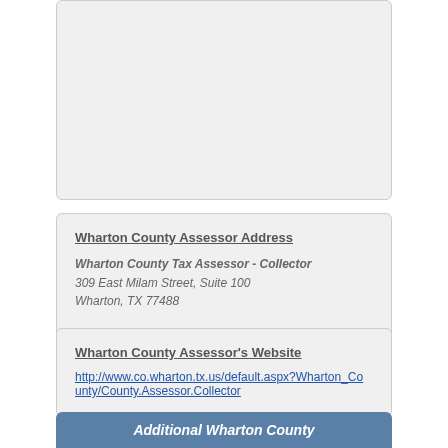Wharton County Assessor Address
Wharton County Tax Assessor - Collector
309 East Milam Street, Suite 100
Wharton, TX 77488
Wharton County Assessor Phone Number
(979) 532-3312
Wharton County Assessor's Website
http://www.co.wharton.tx.us/default.aspx?Wharton_County/County.Assessor.Collector
Additional Wharton County